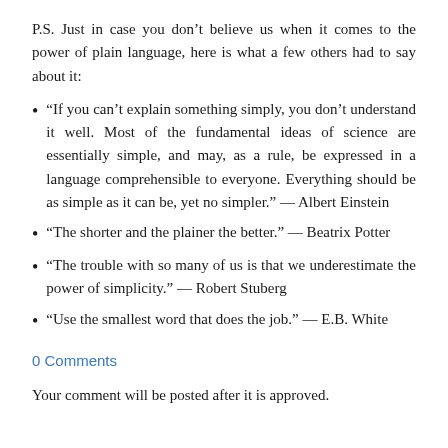P.S. Just in case you don't believe us when it comes to the power of plain language, here is what a few others had to say about it:
“If you can’t explain something simply, you don’t understand it well. Most of the fundamental ideas of science are essentially simple, and may, as a rule, be expressed in a language comprehensible to everyone. Everything should be as simple as it can be, yet no simpler.” — Albert Einstein
“The shorter and the plainer the better.” — Beatrix Potter
“The trouble with so many of us is that we underestimate the power of simplicity.” — Robert Stuberg
“Use the smallest word that does the job.” — E.B. White
0 Comments
Your comment will be posted after it is approved.